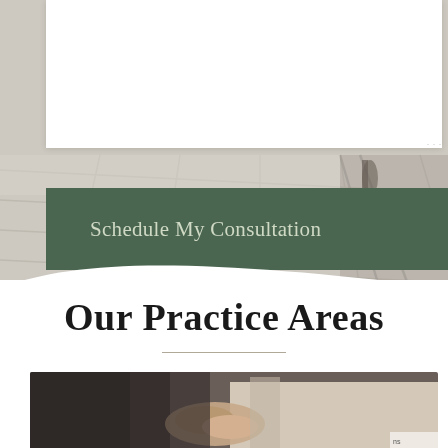[Figure (photo): Background photo of tiled floor with shadows, partially visible person walking]
[Figure (screenshot): White form/card UI element at top of page with resize handle]
Schedule My Consultation
Our Practice Areas
[Figure (photo): Two people shaking hands, business consultation setting]